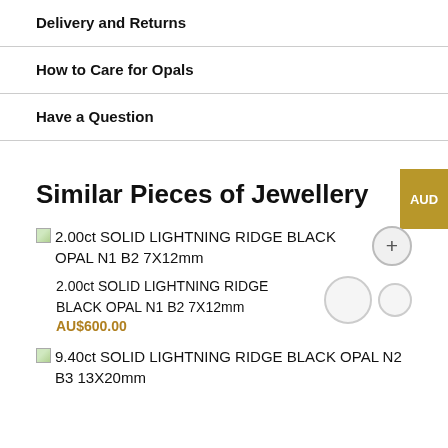Delivery and Returns
How to Care for Opals
Have a Question
Similar Pieces of Jewellery
2.00ct SOLID LIGHTNING RIDGE BLACK OPAL N1 B2 7X12mm
2.00ct SOLID LIGHTNING RIDGE BLACK OPAL N1 B2 7X12mm
AU$600.00
9.40ct SOLID LIGHTNING RIDGE BLACK OPAL N2 B3 13X20mm